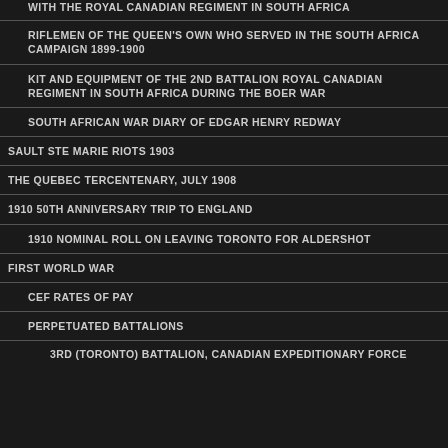WITH THE ROYAL CANADIAN REGIMENT IN SOUTH AFRICA
RIFLEMEN OF THE QUEEN'S OWN WHO SERVED IN THE SOUTH AFRICA CAMPAIGN 1899-1900
KIT AND EQUIPMENT OF THE 2ND BATTALION ROYAL CANADIAN REGIMENT IN SOUTH AFRICA DURING THE BOER WAR
SOUTH AFRICAN WAR DIARY OF EDGAR HENRY REDWAY
SAULT STE MARIE RIOTS 1903
THE QUEBEC TERCENTENARY, JULY 1908
1910 50TH ANNIVERSARY TRIP TO ENGLAND
1910 NOMINAL ROLL ON LEAVING TORONTO FOR ALDERSHOT
FIRST WORLD WAR
CEF RATES OF PAY
PERPETUATED BATTALIONS
3RD (TORONTO) BATTALION, CANADIAN EXPEDITIONARY FORCE